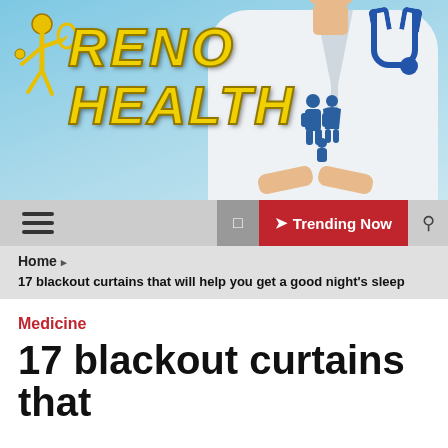[Figure (photo): Website header banner showing a doctor in white coat with stethoscope, hands cupped showing a family icon silhouette. 'Reno Health' logo in gold/yellow italic text with a tennis player figure icon on the left, on a light blue background.]
≡   □  ❯ Trending Now  🔍
Home  ❯
17 blackout curtains that will help you get a good night's sleep
Medicine
17 blackout curtains that